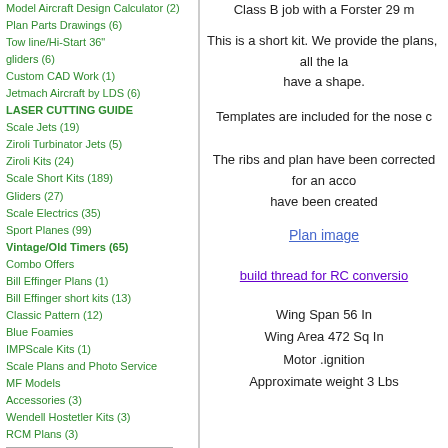Model Aircraft Design Calculator (2)
Plan Parts Drawings (6)
Tow line/Hi-Start 36" gliders (6)
Custom CAD Work (1)
Jetmach Aircraft by LDS (6)
LASER CUTTING GUIDE
Scale Jets (19)
Ziroli Turbinator Jets (5)
Ziroli Kits (24)
Scale Short Kits (189)
Gliders (27)
Scale Electrics (35)
Sport Planes (99)
Vintage/Old Timers (65)
Combo Offers
Bill Effinger Plans (1)
Bill Effinger short kits (13)
Classic Pattern (12)
Blue Foamies
IMPScale Kits (1)
Scale Plans and Photo Service
MF Models
Accessories (3)
Wendell Hostetler Kits (3)
RCM Plans (3)
New Products ...
All Products ...
New Products  [more]
Class B job with a Forster 29 m
This is a short kit. We provide the plans,  all the la have a shape.
Templates are included for the nose c
The ribs and plan have been corrected for an acco have been created
Plan image
build thread for RC conversio
Wing Span 56 In
Wing Area 472 Sq In
Motor .ignition
Approximate weight 3 Lbs